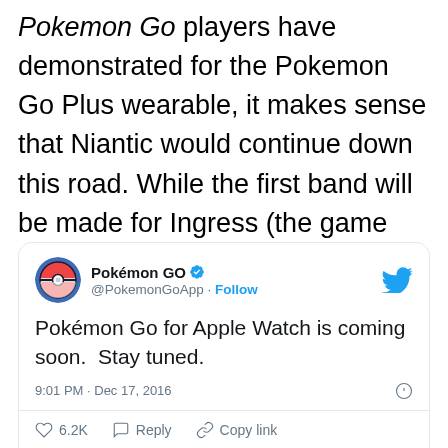Pokemon Go players have demonstrated for the Pokemon Go Plus wearable, it makes sense that Niantic would continue down this road. While the first band will be made for Ingress (the game that came before Pokemon Go), a Pokemon version might not be far behind.
[Figure (screenshot): Embedded tweet from @PokemonGoApp reading: Pokémon Go for Apple Watch is coming soon. Stay tuned. Posted 9:01 PM · Dec 17, 2016. 6.2K likes, Reply, Copy link actions. Read 565 replies button.]